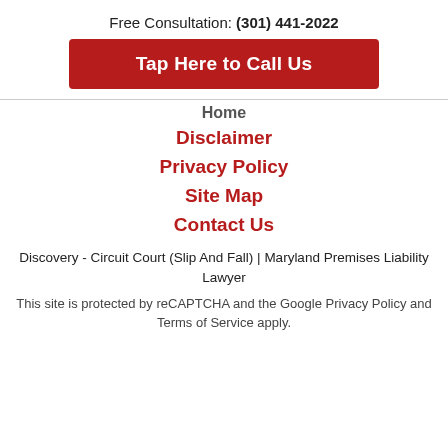Free Consultation: (301) 441-2022
Tap Here to Call Us
Home
Disclaimer
Privacy Policy
Site Map
Contact Us
Discovery - Circuit Court (Slip And Fall) | Maryland Premises Liability Lawyer
This site is protected by reCAPTCHA and the Google Privacy Policy and Terms of Service apply.